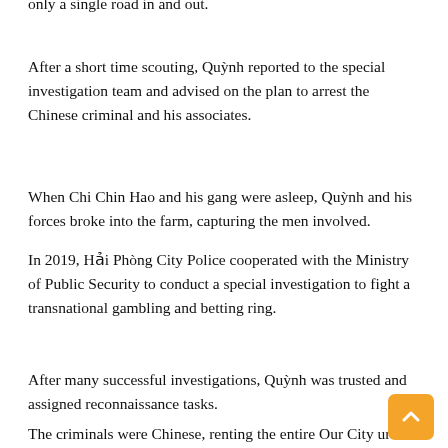only a single road in and out.
After a short time scouting, Quỳnh reported to the special investigation team and advised on the plan to arrest the Chinese criminal and his associates.
When Chi Chin Hao and his gang were asleep, Quỳnh and his forces broke into the farm, capturing the men involved.
In 2019, Hải Phòng City Police cooperated with the Ministry of Public Security to conduct a special investigation to fight a transnational gambling and betting ring.
After many successful investigations, Quỳnh was trusted and assigned reconnaissance tasks.
The criminals were Chinese, renting the entire Our City urban area, which covers more than 43ha in Dương Kinh District.
Reconnaissance was difficult as the gang did not go out or receive Vietnamese people. They installed a camera system and reported that...